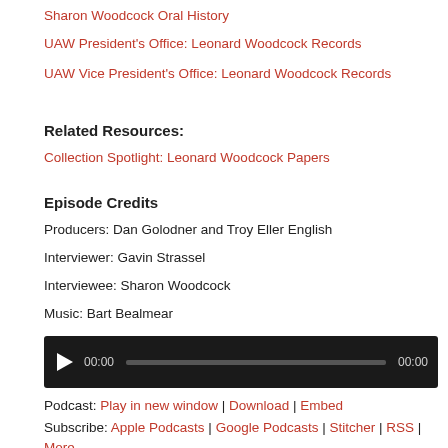Sharon Woodcock Oral History
UAW President's Office: Leonard Woodcock Records
UAW Vice President's Office: Leonard Woodcock Records
Related Resources:
Collection Spotlight: Leonard Woodcock Papers
Episode Credits
Producers: Dan Golodner and Troy Eller English
Interviewer: Gavin Strassel
Interviewee: Sharon Woodcock
Music: Bart Bealmear
[Figure (other): Audio player widget with play button, time display 00:00, progress bar, and end time 00:00 on dark background]
Podcast: Play in new window | Download | Embed
Subscribe: Apple Podcasts | Google Podcasts | Stitcher | RSS | More